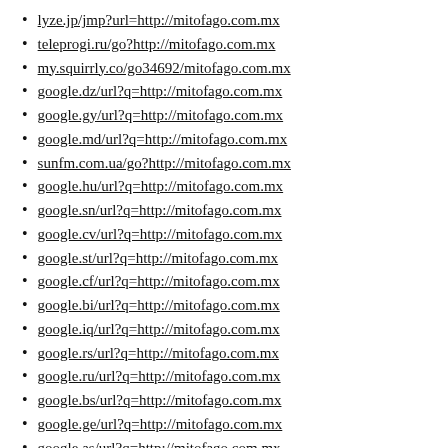lyze.jp/jmp?url=http://mitofago.com.mx
teleprogi.ru/go?http://mitofago.com.mx
my.squirrly.co/go34692/mitofago.com.mx
google.dz/url?q=http://mitofago.com.mx
google.gy/url?q=http://mitofago.com.mx
google.md/url?q=http://mitofago.com.mx
sunfm.com.ua/go?http://mitofago.com.mx
google.hu/url?q=http://mitofago.com.mx
google.sn/url?q=http://mitofago.com.mx
google.cv/url?q=http://mitofago.com.mx
google.st/url?q=http://mitofago.com.mx
google.cf/url?q=http://mitofago.com.mx
google.bi/url?q=http://mitofago.com.mx
google.iq/url?q=http://mitofago.com.mx
google.rs/url?q=http://mitofago.com.mx
google.ru/url?q=http://mitofago.com.mx
google.bs/url?q=http://mitofago.com.mx
google.ge/url?q=http://mitofago.com.mx
google.as/url?q=http://mitofago.com.mx